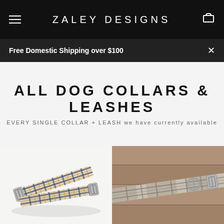ZALEY DESIGNS
Free Domestic Shipping over $100
ALL DOG COLLARS & LEASHES
EVERY SINGLE COLLAR + LEASH we have currently available
[Figure (photo): Plaid/gingham patterned dog collar in blue and golden/tan tones with silver metal buckle hardware, shown on white background]
[Figure (photo): Gray and beige plaid dog collar with silver D-ring hardware, displayed on wooden surface]